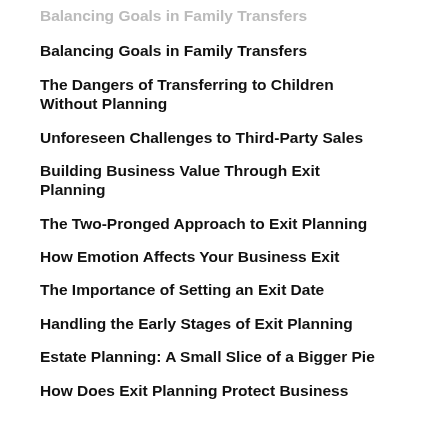Balancing Goals in Family Transfers
The Dangers of Transferring to Children Without Planning
Unforeseen Challenges to Third-Party Sales
Building Business Value Through Exit Planning
The Two-Pronged Approach to Exit Planning
How Emotion Affects Your Business Exit
The Importance of Setting an Exit Date
Handling the Early Stages of Exit Planning
Estate Planning: A Small Slice of a Bigger Pie
How Does Exit Planning Protect Business